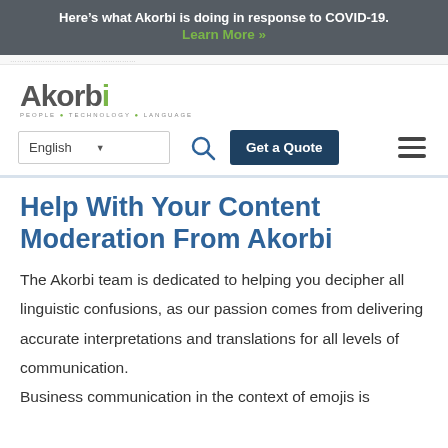Here's what Akorbi is doing in response to COVID-19. Learn More »
[Figure (logo): Akorbi logo with tagline PEOPLE • TECHNOLOGY • LANGUAGE]
English ▼  🔍  Get a Quote  ☰
Help With Your Content Moderation From Akorbi
The Akorbi team is dedicated to helping you decipher all linguistic confusions, as our passion comes from delivering accurate interpretations and translations for all levels of communication. Business communication in the context of emojis is